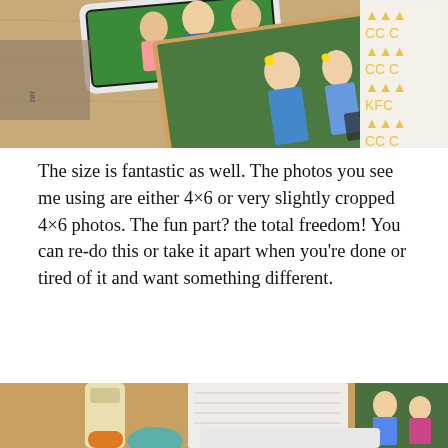[Figure (photo): Photo of scrapbook materials on a desk: photos of two girls in blue dresses at a luau, another family photo on a tablet/white device, and decorative patterned paper with yellow geometric shapes on the right.]
The size is fantastic as well. The photos you see me using are either 4×6 or very slightly cropped 4×6 photos. The fun part? the total freedom! You can re-do this or take it apart when you're done or tired of it and want something different.
[Figure (photo): Close-up photo of craft supplies on a desk including a spray bottle, notebook/binder, and photos of children in blue dresses.]